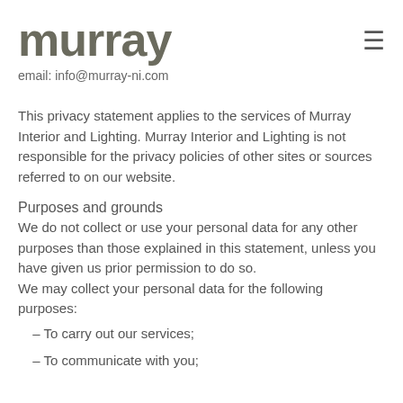murray
email: info@murray-ni.com
This privacy statement applies to the services of Murray Interior and Lighting. Murray Interior and Lighting is not responsible for the privacy policies of other sites or sources referred to on our website.
Purposes and grounds
We do not collect or use your personal data for any other purposes than those explained in this statement, unless you have given us prior permission to do so.
We may collect your personal data for the following purposes:
– To carry out our services;
– To communicate with you;